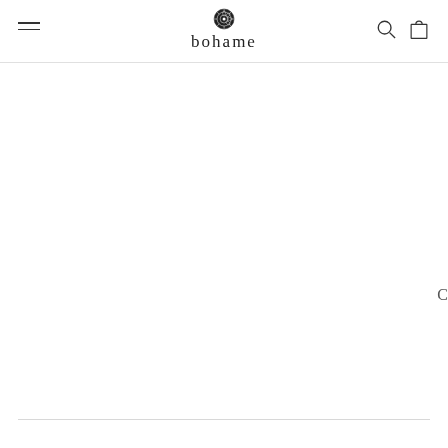[Figure (logo): Bohame brand logo with decorative circular icon above the word 'bohame' in serif font]